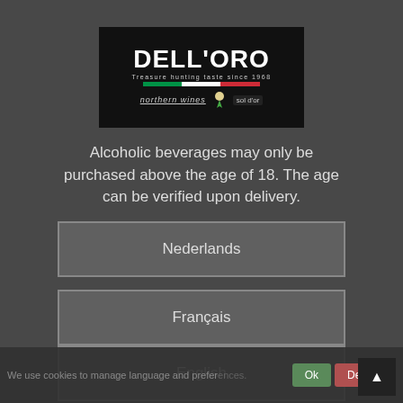[Figure (logo): Dell'Oro logo with text 'Treasure hunting taste since 1968', Italian flag bar, and 'northern wines' and 'sol d'or' sub-brands on black background]
Alcoholic beverages may only be purchased above the age of 18. The age can be verified upon delivery.
Nederlands
Français
English
We use cookies to manage language and preferences.
Ok
Decline